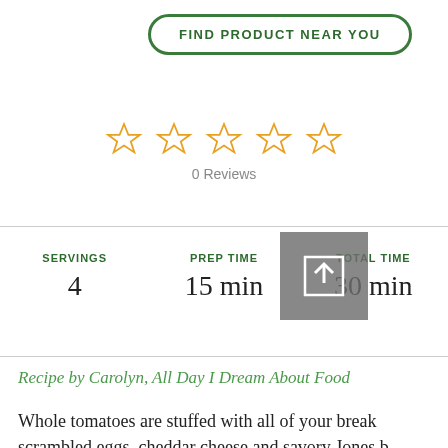FIND PRODUCT NEAR YOU
[Figure (other): 5 empty star rating icons in gold/orange outline]
0 Reviews
SERVINGS 4
PREP TIME 15 min
TOTAL TIME 30 min
Recipe by Carolyn, All Day I Dream About Food
Whole tomatoes are stuffed with all of your brea scrambled eggs, cheddar cheese and savory Jones b